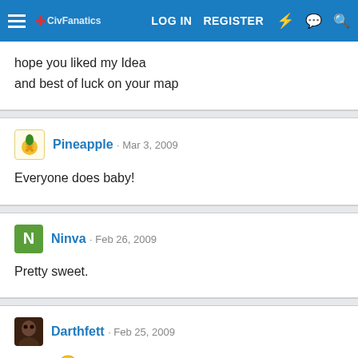LOG IN  REGISTER
hope you liked my Idea
and best of luck on your map
Pineapple · Mar 3, 2009
Everyone does baby!
Ninva · Feb 26, 2009
Pretty sweet.
Darthfett · Feb 25, 2009
Hello? 😛